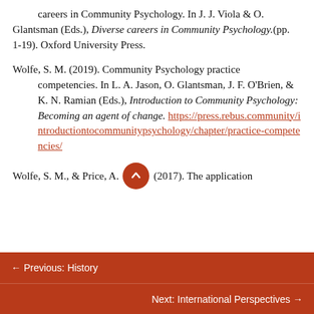careers in Community Psychology. In J. J. Viola & O. Glantsman (Eds.), Diverse careers in Community Psychology.(pp. 1-19). Oxford University Press.
Wolfe, S. M. (2019). Community Psychology practice competencies. In L. A. Jason, O. Glantsman, J. F. O'Brien, & K. N. Ramian (Eds.), Introduction to Community Psychology: Becoming an agent of change. https://press.rebus.community/introductiontocommunitypsychology/chapter/practice-competencies/
Wolfe, S. M., & Price, A. (2017). The application
← Previous: History
Next: International Perspectives →